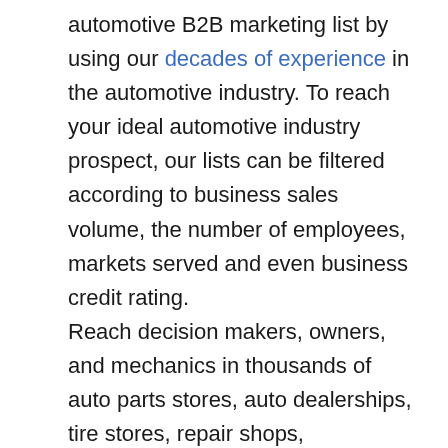automotive B2B marketing list by using our decades of experience in the automotive industry. To reach your ideal automotive industry prospect, our lists can be filtered according to business sales volume, the number of employees, markets served and even business credit rating.

Reach decision makers, owners, and mechanics in thousands of auto parts stores, auto dealerships, tire stores, repair shops, installation shops and restyling shops.

Reach your ideal B2B customers today! Call